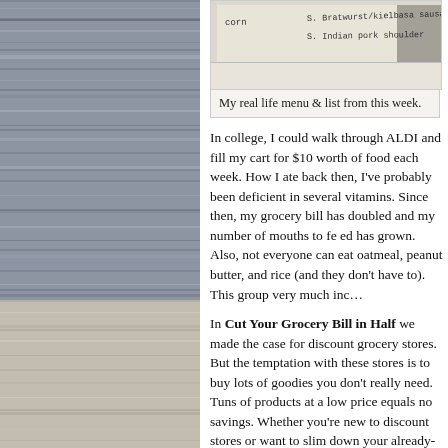[Figure (photo): Wood/siding texture background on left column, upper portion dark gray-blue, lower portion lighter tan/gray]
[Figure (photo): Handwritten menu and grocery list showing items including corn, Bratwurst/kielbasa sausage, and Indian pork shoulder]
My real life menu & list from this week.
In college, I could walk through ALDI and fill my cart for $10 worth of food each week. How I ate back then, I've probably been deficient in several vitamins. Since then, my grocery bill has doubled and my number of mouths to feed has grown. Also, not everyone can eat oatmeal, peanut butter, and rice (and they don't have to). This group very much inc
In Cut Your Grocery Bill in Half we made the case for discount grocery stores. But the temptation with these stores is to buy lots of goodies you don't really need. Tons of products at a low price equals no savings. Whether you're new to discount stores or want to slim down your already-discounted grocery bill, here are helpful principles for taking grocery savi
Make a menu. Especially if you have kids, making a menu can streamline grocery shopping. You won't be buying things you don't need or make multiple trip